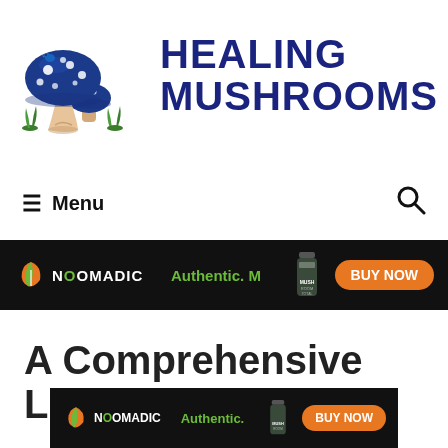[Figure (logo): Healing Mushrooms logo with illustrated blue mushrooms and bold dark blue text reading HEALING MUSHROOMS]
≡ Menu
[Figure (infographic): Noomadic advertisement banner with green leaf logo, text 'Authentic. M', supplement bottle image, and orange BUY NOW button on black background]
A Comprehensive List of
[Figure (infographic): Second Noomadic advertisement banner with green leaf logo, text 'Authentic.', supplement bottle image, and orange BUY NOW button on black background]